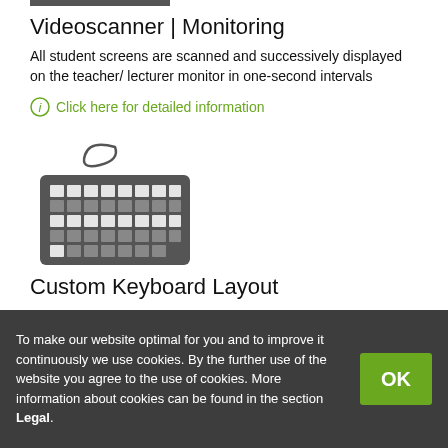Videoscanner | Monitoring
All student screens are scanned and successively displayed on the teacher/ lecturer monitor in one-second intervals
Click here for detailed information
[Figure (illustration): Icon of a keyboard with a cable]
Custom Keyboard Layout
The system keyboard can be adapted to the respective seating arrangement in the classroom
Click here for detailed information
To make our website optimal for you and to improve it continuously we use cookies. By the further use of the website you agree to the use of cookies. More information about cookies can be found in the section Legal.